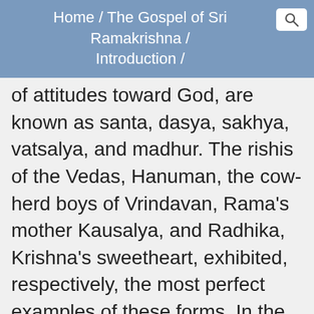Home / The Gospel of Sri Ramakrishna / Introduction /
of attitudes toward God, are known as santa, dasya, sakhya, vatsalya, and madhur. The rishis of the Vedas, Hanuman, the cow-herd boys of Vrindavan, Rama's mother Kausalya, and Radhika, Krishna's sweetheart, exhibited, respectively, the most perfect examples of these forms. In the ascending scale the-glories of God are gradually forgotten and the devotee realizes more and more the intimacy of divine communion. Finally